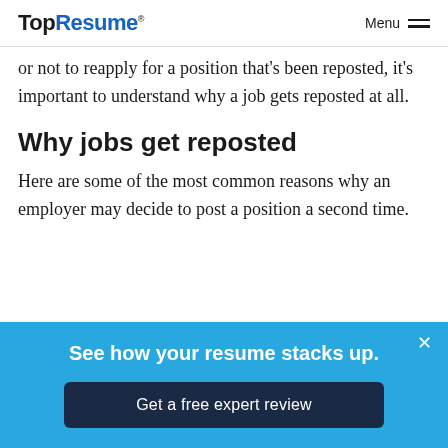TopResume® Menu
or not to reapply for a position that's been reposted, it's important to understand why a job gets reposted at all.
Why jobs get reposted
Here are some of the most common reasons why an employer may decide to post a position a second time.
[Figure (infographic): Blue CTA banner with text 'See how your resume stacks up.' and a dark navy button 'Get a free expert review' with a close (×) button in the top right.]